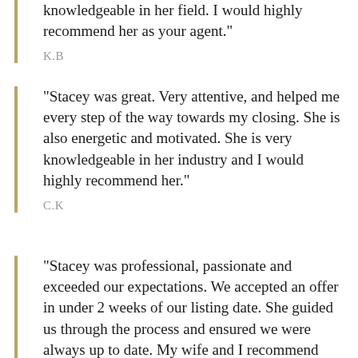“knowledgeable in her field. I would highly recommend her as your agent.”
K.B
“Stacey was great. Very attentive, and helped me every step of the way towards my closing. She is also energetic and motivated. She is very knowledgeable in her industry and I would highly recommend her.”
C.K
“Stacey was professional, passionate and exceeded our expectations. We accepted an offer in under 2 weeks of our listing date. She guided us through the process and ensured we were always up to date. My wife and I recommend Stacey to anyone who is looking